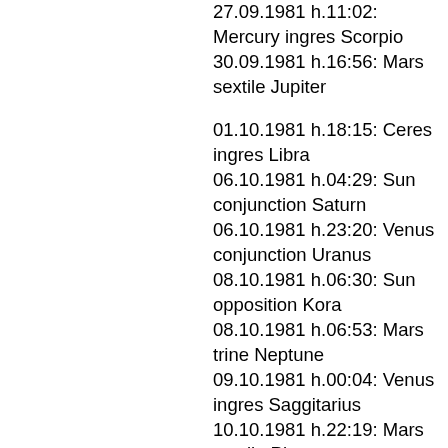27.09.1981 h.11:02: Mercury ingres Scorpio
30.09.1981 h.16:56: Mars sextile Jupiter
01.10.1981 h.18:15: Ceres ingres Libra
06.10.1981 h.04:29: Sun conjunction Saturn
06.10.1981 h.23:20: Venus conjunction Uranus
08.10.1981 h.06:30: Sun opposition Kora
08.10.1981 h.06:53: Mars trine Neptune
09.10.1981 h.00:04: Venus ingres Saggitarius
10.10.1981 h.22:19: Mars sextile Pluto
13.10.1981 h.22:53: Venus sextile Ceres
14.10.1981 h.02:08: Mercury ingres Libra
14.10.1981 h.04:45: Sun conjunction Jupiter